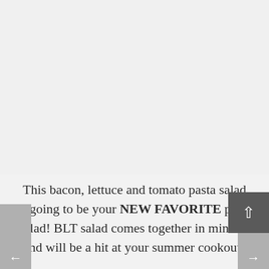[Figure (photo): Large image area placeholder, light gray background, appears to be a food photo area (blank/loading)]
This bacon, lettuce and tomato pasta salad is going to be your NEW FAVORITE pasta salad! BLT salad comes together in minutes and will be a hit at your summer cookouts